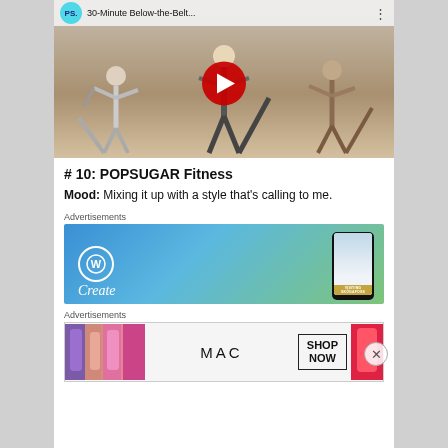[Figure (screenshot): YouTube video thumbnail showing three women doing kickboxing/dance fitness moves in a studio. The PS (POPSUGAR) logo is in the top-left corner, with title '30-Minute Below-the-Belt...' and a red YouTube play button in the center.]
# 10: POPSUGAR Fitness
Mood: Mixing it up with a style that's calling to me.
Advertisements
[Figure (screenshot): WordPress advertisement banner with blue-green gradient background showing the WordPress logo on the left and a smartphone displaying a waterfall photo labeled 'VISITING SKÓGAFOSS' on the right. Text 'Create' in italic at the bottom left.]
Advertisements
[Figure (screenshot): MAC Cosmetics advertisement showing colorful lipsticks on the left and right sides, MAC logo in the center, and a 'SHOP NOW' button box.]